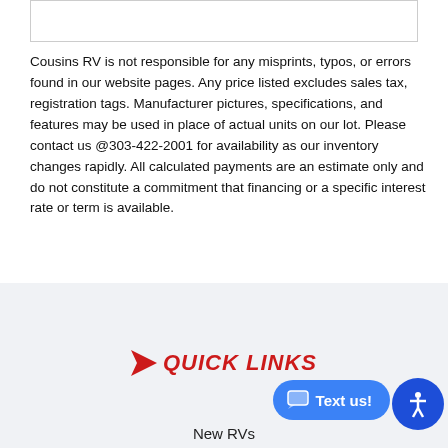Cousins RV is not responsible for any misprints, typos, or errors found in our website pages. Any price listed excludes sales tax, registration tags. Manufacturer pictures, specifications, and features may be used in place of actual units on our lot. Please contact us @303-422-2001 for availability as our inventory changes rapidly. All calculated payments are an estimate only and do not constitute a commitment that financing or a specific interest rate or term is available.
QUICK LINKS
New RVs